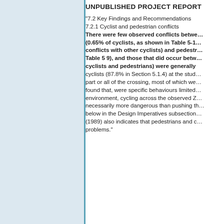UNPUBLISHED PROJECT REPORT
"7.2 Key Findings and Recommendations
7.2.1 Cyclist and pedestrian conflicts
There were few observed conflicts between (0.65% of cyclists, as shown in Table 5-10 conflicts with other cyclists) and pedestrians (Table 5 9), and those that did occur between cyclists and pedestrians) were generally cyclists (87.8% in Section 5.1.4) at the study part or all of the crossing, most of which were found that, were specific behaviours limited to environment, cycling across the observed Zebra necessarily more dangerous than pushing the bike below in the Design Imperatives subsection (1989) also indicates that pedestrians and cyclists problems."